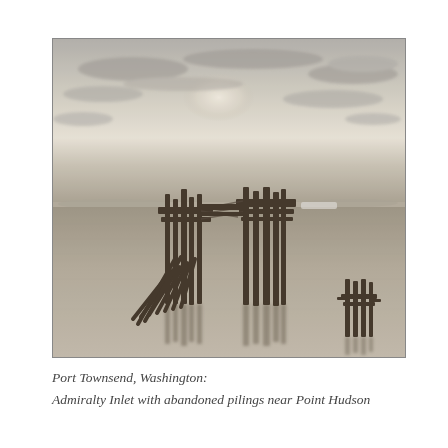[Figure (photo): Black and white long-exposure photograph of abandoned wooden pier pilings standing in calm water at Admiralty Inlet, Port Townsend, Washington. The pilings are reflected in the still water. Overcast sky with diffuse light in the background. A smaller cluster of pilings is visible in the lower right corner. Distant hills are faintly visible on the horizon.]
Port Townsend, Washington: Admiralty Inlet with abandoned pilings near Point Hudson